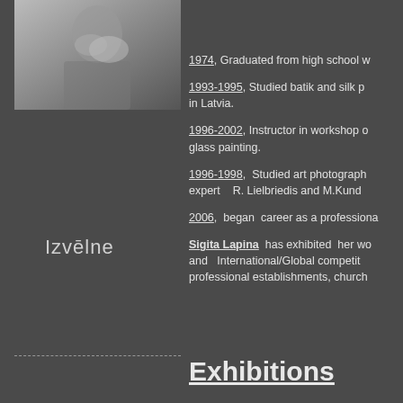[Figure (photo): Black and white photo of a person holding flowers, upper left column]
Izvēlne
1974, Graduated from high school w...
1993-1995, Studied batik and silk p... in Latvia.
1996-2002, Instructor in workshop o... glass painting.
1996-1998, Studied art photography... expert R. Lielbriedis and M.Kund...
2006, began career as a professiona...
Sigita Lapina has exhibited her wo... and International/Global competit... professional establishments, church...
Exhibitions